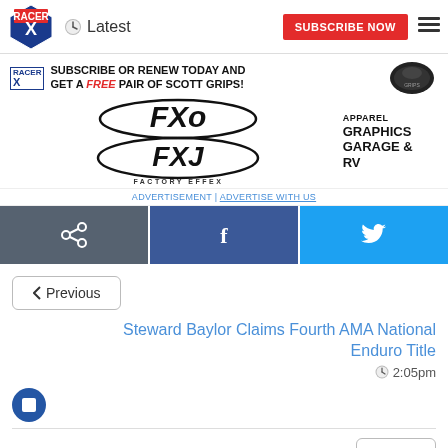Racer X | Latest | SUBSCRIBE NOW
[Figure (infographic): Advertisement banner: Subscribe or renew today and get a FREE pair of Scott Grips! Factory Effex logo and Apparel Graphics Garage & RV ad]
ADVERTISEMENT | ADVERTISE WITH US
[Figure (infographic): Social share buttons: Share, Facebook, Twitter]
< Previous
Steward Baylor Claims Fourth AMA National Enduro Title
2:05pm
[Figure (photo): Blue circle avatar/profile icon]
Next >
Gas Monkey Energy/AJE